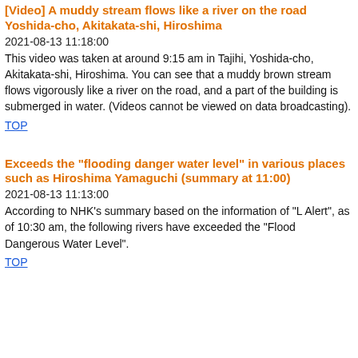[Video] A muddy stream flows like a river on the road Yoshida-cho, Akitakata-shi, Hiroshima
2021-08-13 11:18:00
This video was taken at around 9:15 am in Tajihi, Yoshida-cho, Akitakata-shi, Hiroshima. You can see that a muddy brown stream flows vigorously like a river on the road, and a part of the building is submerged in water. (Videos cannot be viewed on data broadcasting).
TOP
Exceeds the "flooding danger water level" in various places such as Hiroshima Yamaguchi (summary at 11:00)
2021-08-13 11:13:00
According to NHK's summary based on the information of "L Alert", as of 10:30 am, the following rivers have exceeded the "Flood Dangerous Water Level".
TOP